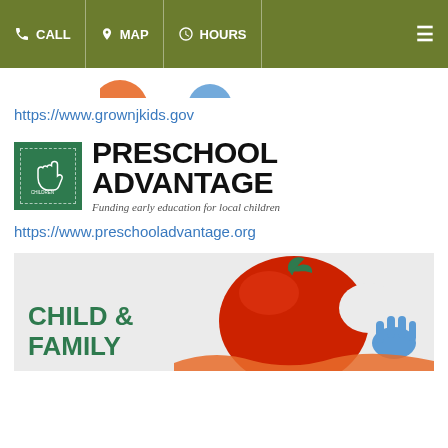CALL  MAP  HOURS
[Figure (logo): Partial logos visible at top of page]
https://www.grownjkids.gov
[Figure (logo): Preschool Advantage logo with green box containing hand silhouette and text 'PRESCHOOL ADVANTAGE - Funding early education for local children']
https://www.preschooladvantage.org
[Figure (logo): Child & Family logo with colorful apple and handprints illustration]